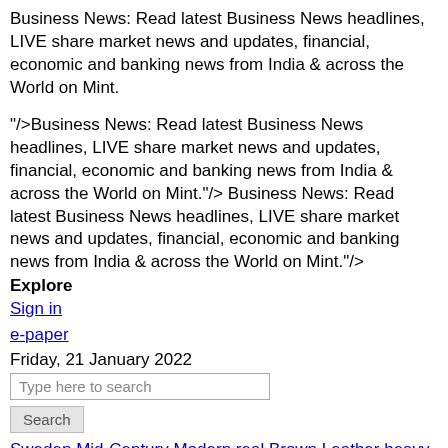Business News: Read latest Business News headlines, LIVE share market news and updates, financial, economic and banking news from India & across the World on Mint.
"/>Business News: Read latest Business News headlines, LIVE share market news and updates, financial, economic and banking news from India & across the World on Mint."/> Business News: Read latest Business News headlines, LIVE share market news and updates, financial, economic and banking news from India & across the World on Mint."/>
Explore
Sign in
e-paper
Friday, 21 January 2022
Type here to search
Search
Sweden Mid-Century Modern real Brown Leather heavy Study lounge
Subscribe
Search
My Reads
e-paper
New
Notifications